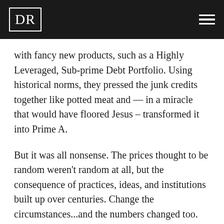DR
with fancy new products, such as a Highly Leveraged, Sub-prime Debt Portfolio. Using historical norms, they pressed the junk credits together like potted meat and — in a miracle that would have floored Jesus – transformed it into Prime A.
But it was all nonsense. The prices thought to be random weren't random at all, but the consequence of practices, ideas, and institutions built up over centuries. Change the circumstances...and the numbers changed too. As Soros puts it, markets are 'reflexive.' In our words, prices are neither